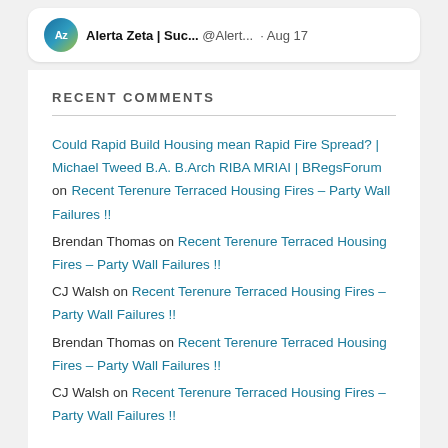[Figure (screenshot): Tweet card showing Alerta Zeta | Suc... @Alert... · Aug 17]
RECENT COMMENTS
Could Rapid Build Housing mean Rapid Fire Spread? | Michael Tweed B.A. B.Arch RIBA MRIAI | BRegsForum on Recent Terenure Terraced Housing Fires – Party Wall Failures !!
Brendan Thomas on Recent Terenure Terraced Housing Fires – Party Wall Failures !!
CJ Walsh on Recent Terenure Terraced Housing Fires – Party Wall Failures !!
Brendan Thomas on Recent Terenure Terraced Housing Fires – Party Wall Failures !!
CJ Walsh on Recent Terenure Terraced Housing Fires – Party Wall Failures !!
CATEGORIES